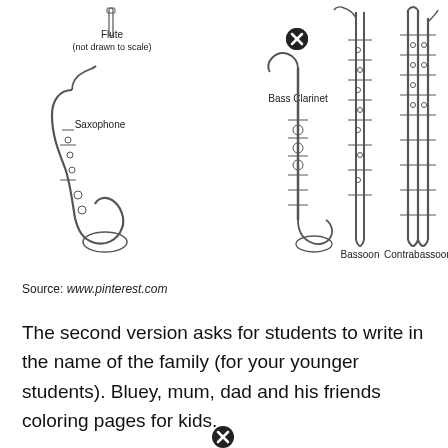[Figure (illustration): Line drawings of woodwind instruments: Flute (not drawn to scale) at top left, Saxophone (large, curved bell) on left, Bass Clarinet (with curved neck and bell) in center with a close/X button above it, Bassoon (tall straight instrument) right-center, and Contrabassoon (tall instrument with curved top) far right. Labels appear below or beside each instrument.]
Source: www.pinterest.com
The second version asks for students to write in the name of the family (for your younger students). Bluey, mum, dad and his friends coloring pages for kids.